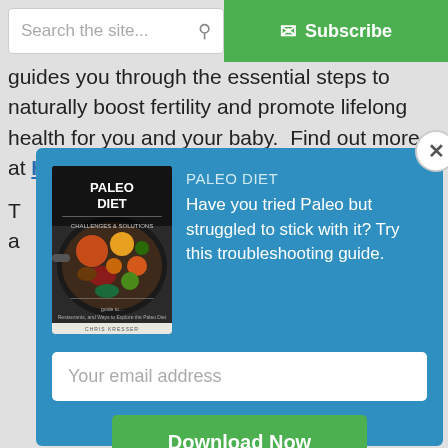Search the site... | Subscribe
guides you through the essential steps to naturally boost fertility and promote lifelong health for you and your baby.  Find out more at HealthyBabyCode.com.
[Figure (screenshot): Modal popup with Paleo Diet book cover, promotional text, email input, and Download Now button on a blue background]
PALEO DIET
Have you tried Paleo but struggled to stick with it? Try this troubleshooting guide.
Your email address
Download Now